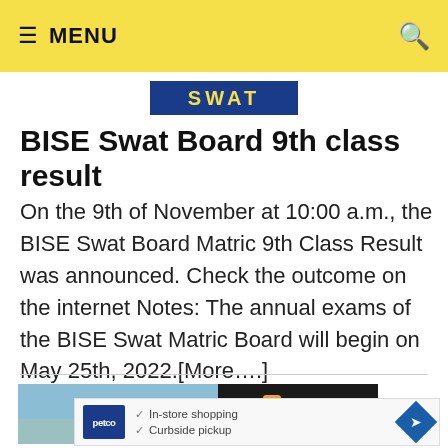≡ MENU
[Figure (logo): SWAT board logo — blue rectangle with yellow SWAT text]
BISE Swat Board 9th class result
On the 9th of November at 10:00 a.m., the BISE Swat Board Matric 9th Class Result was announced. Check the outcome on the internet Notes: The annual exams of the BISE Swat Matric Board will begin on May 25th, 2022.[More….]
[Figure (photo): Advertisement banner with helicopter image on the left and Direct Relief ANYTIME. ANYWHERE. ad on the right]
[Figure (other): Petco advertisement overlay showing In-store shopping and Curbside pickup with navigation icon]